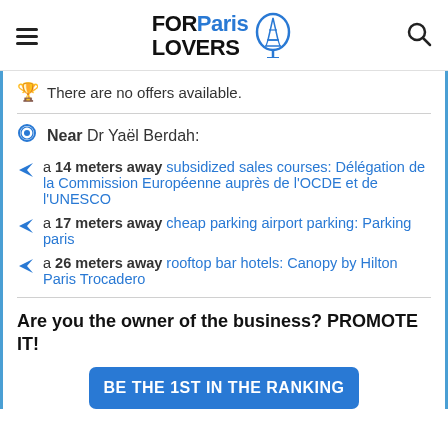FOR Paris LOVERS [logo with Eiffel Tower icon]
There are no offers available.
Near Dr Yaël Berdah:
a 14 meters away subsidized sales courses: Délégation de la Commission Européenne auprès de l'OCDE et de l'UNESCO
a 17 meters away cheap parking airport parking: Parking paris
a 26 meters away rooftop bar hotels: Canopy by Hilton Paris Trocadero
Are you the owner of the business? PROMOTE IT!
BE THE 1ST IN THE RANKING